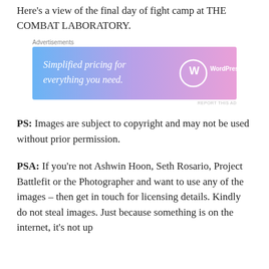Here's a view of the final day of fight camp at THE COMBAT LABORATORY.
[Figure (screenshot): WordPress.com advertisement banner with gradient background (blue to pink/purple) showing text 'Simplified pricing for everything you need.' and WordPress.com logo]
PS: Images are subject to copyright and may not be used without prior permission.
PSA: If you're not Ashwin Hoon, Seth Rosario, Project Battlefit or the Photographer and want to use any of the images – then get in touch for licensing details. Kindly do not steal images. Just because something is on the internet, it's not up